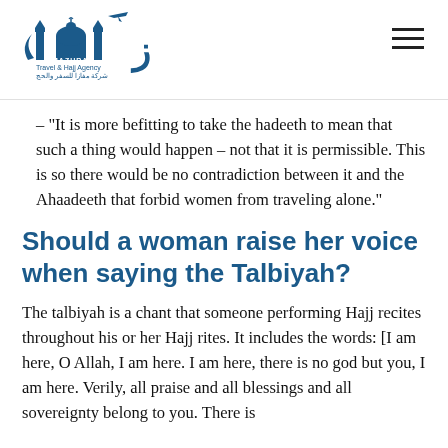Mazura Travel & Hajj Agency
– “It is more befitting to take the hadeeth to mean that such a thing would happen – not that it is permissible. This is so there would be no contradiction between it and the Ahaadeeth that forbid women from traveling alone.”
Should a woman raise her voice when saying the Talbiyah?
The talbiyah is a chant that someone performing Hajj recites throughout his or her Hajj rites. It includes the words: [I am here, O Allah, I am here. I am here, there is no god but you, I am here. Verily, all praise and all blessings and all sovereignty belong to you. There is